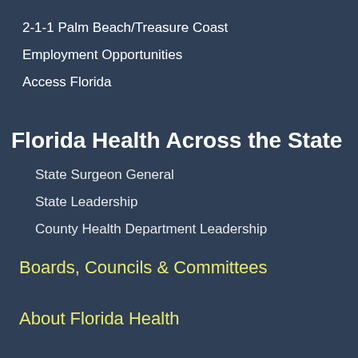2-1-1 Palm Beach/Treasure Coast
Employment Opportunities
Access Florida
Florida Health Across the State
State Surgeon General
State Leadership
County Health Department Leadership
Boards, Councils & Committees
About Florida Health